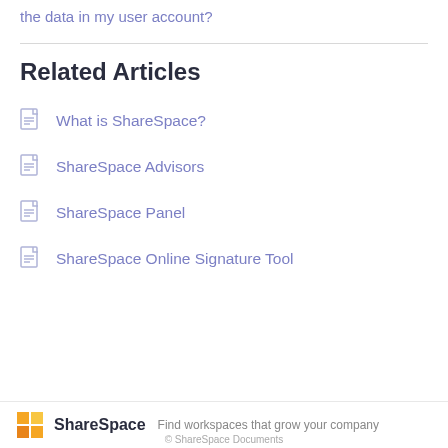the data in my user account?
Related Articles
What is ShareSpace?
ShareSpace Advisors
ShareSpace Panel
ShareSpace Online Signature Tool
ShareSpace  Find workspaces that grow your company  © ShareSpace Documents